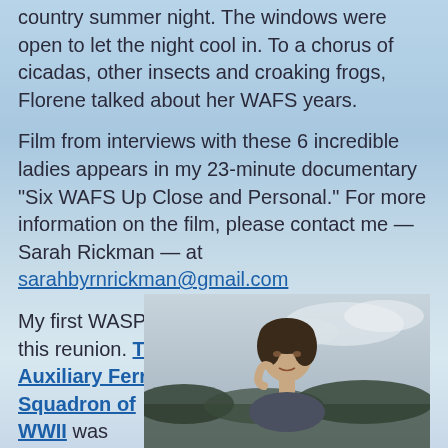country summer night. The windows were open to let the night cool in. To a chorus of cicadas, other insects and croaking frogs, Florene talked about her WAFS years.
Film from interviews with these 6 incredible ladies appears in my 23-minute documentary “Six WAFS Up Close and Personal.” For more information on the film, please contact me — Sarah Rickman — at sarahbyrnrickman@gmail.com
My first WASP (WAFS) book was the result of this reunion. The Originals: The Women’s Auxiliary Ferrying Squadron of WWII was
[Figure (photo): Black and white photograph of a woman, appearing to be a WAFS/WASP pilot, with 1940s-style hair]